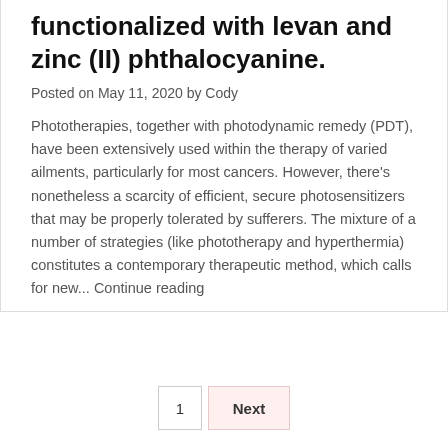functionalized with levan and zinc (II) phthalocyanine.
Posted on May 11, 2020 by Cody
Phototherapies, together with photodynamic remedy (PDT), have been extensively used within the therapy of varied ailments, particularly for most cancers. However, there's nonetheless a scarcity of efficient, secure photosensitizers that may be properly tolerated by sufferers. The mixture of a number of strategies (like phototherapy and hyperthermia) constitutes a contemporary therapeutic method, which calls for new... Continue reading